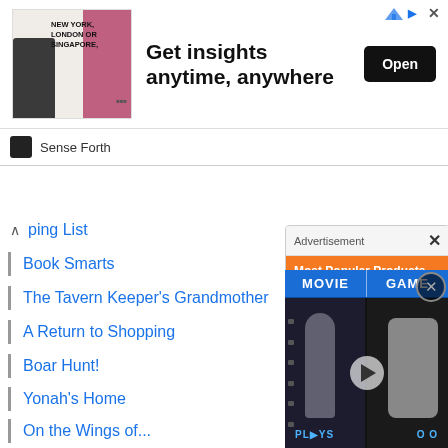[Figure (screenshot): Top advertisement banner: 'Get insights anytime, anywhere' with Open button, Sense Forth brand]
ping List
Book Smarts
The Tavern Keeper's Grandmother
A Return to Shopping
Boar Hunt!
Yonah's Home...
On the Wings of...
Fragile Delivery...
Fragile Delivery...
The Ballad of t...
A Dog Astray
[Figure (screenshot): Advertisement popup: Most Popular Products, Updated Weekly! on orange background with product icons]
[Figure (screenshot): Bottom video ad: MOVIE vs GAME split screen with play button]